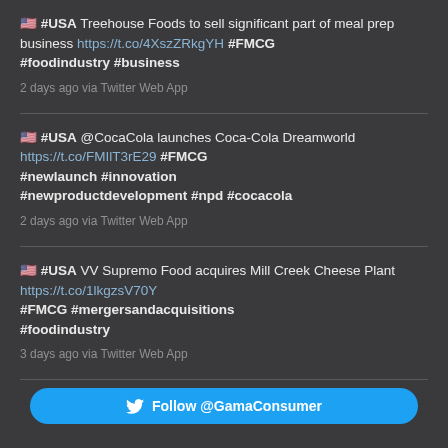🇺🇸 #USA Treehouse Foods to sell significant part of meal prep business https://t.co/4XszZRkgYH #FMCG #foodindustry #business
2 days ago via Twitter Web App
🇺🇸 #USA @CocaCola launches Coca-Cola Dreamworld https://t.co/FMIlT3rE29 #FMCG #newlaunch #innovation #newproductdevelopment #npd #cocacola
2 days ago via Twitter Web App
🇺🇸 #USA VV Supremo Food acquires Mill Creek Cheese Plant https://t.co/1lkgzsV70Y #FMCG #mergersandacquisitions #foodindustry
3 days ago via Twitter Web App
Follow @GamaConsumer